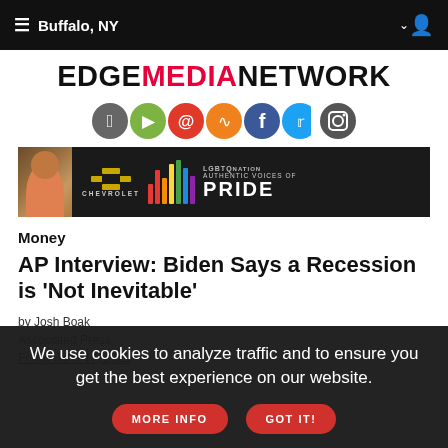≡ Buffalo, NY ∨
EDGEMEDIANETWORK
[Figure (logo): Row of 7 social media icons: Apple, Android, Email, RSS, Facebook, Twitter, Instagram]
[Figure (infographic): Chevrolet advertisement banner - LGBTQ Nation Authentic Voices of Pride]
Money
AP Interview: Biden Says a Recession is 'Not Inevitable'
by Josh Boak
Associated Press
Friday June 17, 2022
We use cookies to analyze traffic and to ensure you get the best experience on our website.  MORE INFO  GOT IT!